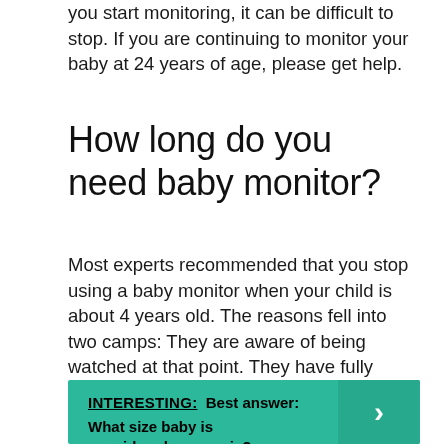you start monitoring, it can be difficult to stop. If you are continuing to monitor your baby at 24 years of age, please get help.
How long do you need baby monitor?
Most experts recommended that you stop using a baby monitor when your child is about 4 years old. The reasons fell into two camps: They are aware of being watched at that point. They have fully adjusted to sleep in their own bed.
INTERESTING:  Best answer: What size baby is considered a preemie?